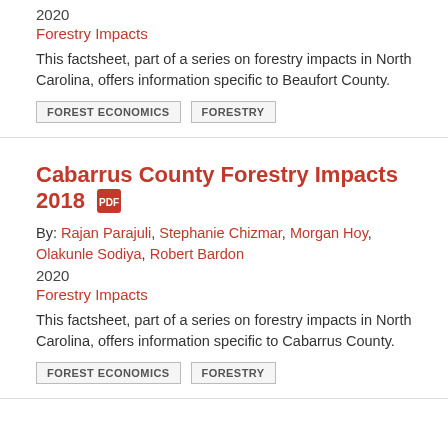2020
Forestry Impacts
This factsheet, part of a series on forestry impacts in North Carolina, offers information specific to Beaufort County.
FOREST ECONOMICS
FORESTRY
Cabarrus County Forestry Impacts 2018
By: Rajan Parajuli, Stephanie Chizmar, Morgan Hoy, Olakunle Sodiya, Robert Bardon
2020
Forestry Impacts
This factsheet, part of a series on forestry impacts in North Carolina, offers information specific to Cabarrus County.
FOREST ECONOMICS
FORESTRY